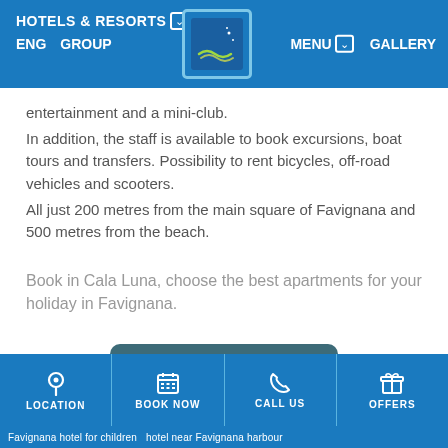HOTELS & RESORTS [dropdown] ENG GROUP | MENU [dropdown] GALLERY
entertainment and a mini-club.
In addition, the staff is available to book excursions, boat tours and transfers. Possibility to rent bicycles, off-road vehicles and scooters.
All just 200 metres from the main square of Favignana and 500 metres from the beach.
Book in Cala Luna, choose the best apartments for your holiday in Favignana.
BOOK NOW
LOCATION | BOOK NOW | CALL US | OFFERS
Favignana hotel for children  hotel near Favignana harbour